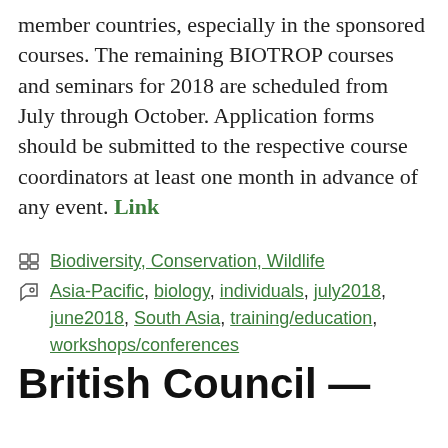member countries, especially in the sponsored courses. The remaining BIOTROP courses and seminars for 2018 are scheduled from July through October. Application forms should be submitted to the respective course coordinators at least one month in advance of any event. Link
Categories: Biodiversity, Conservation, Wildlife Tags: Asia-Pacific, biology, individuals, july2018, june2018, South Asia, training/education, workshops/conferences
British Council —